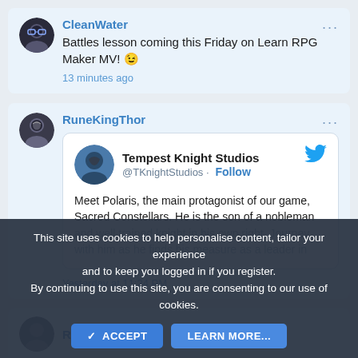CleanWater — Battles lesson coming this Friday on Learn RPG Maker MV! 😉 — 13 minutes ago
[Figure (screenshot): Embedded tweet from Tempest Knight Studios (@TKnightStudios) with Twitter bird logo. Tweet text: Meet Polaris, the main protagonist of our game, Sacred Constellars. He is the son of a nobleman and well trained knight in his own right. Journey with him as he finds his measure as a leader in]
RuneKingThor — Yesterday at 11:24 PM
Rerya (partial, cut off)
This site uses cookies to help personalise content, tailor your experience and to keep you logged in if you register. By continuing to use this site, you are consenting to our use of cookies.